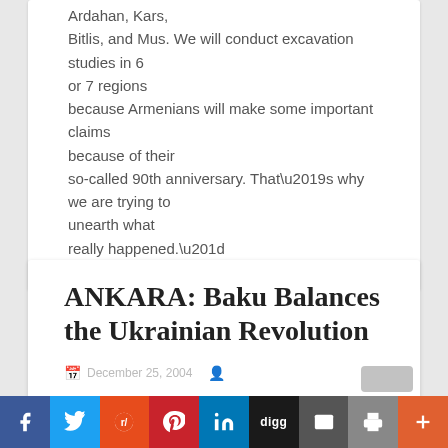Ardahan, Kars, Bitlis, and Mus. We will conduct excavation studies in 6 or 7 regions because Armenians will make some important claims because of their so-called 90th anniversary. That’s why we are trying to unearth what really happened.”
ANKARA: Baku Balances the Ukrainian Revolution
December 25, 2004